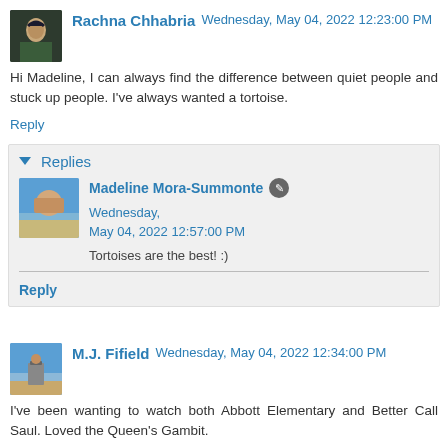Rachna Chhabria Wednesday, May 04, 2022 12:23:00 PM
Hi Madeline, I can always find the difference between quiet people and stuck up people. I've always wanted a tortoise.
Reply
Replies
Madeline Mora-Summonte Wednesday, May 04, 2022 12:57:00 PM
Tortoises are the best! :)
Reply
M.J. Fifield Wednesday, May 04, 2022 12:34:00 PM
I've been wanting to watch both Abbott Elementary and Better Call Saul. Loved the Queen's Gambit.
I'd totally let Mrs. Larry be in charge of decorating and